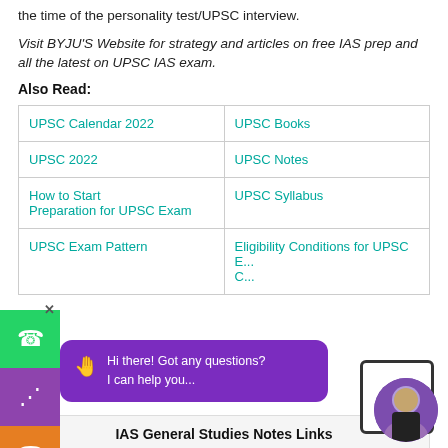the time of the personality test/UPSC interview.
Visit BYJU'S Website for strategy and articles on free IAS prep and all the latest on UPSC IAS exam.
Also Read:
| UPSC Calendar 2022 | UPSC Books |
| UPSC 2022 | UPSC Notes |
| How to Start Preparation for UPSC Exam | UPSC Syllabus |
| UPSC Exam Pattern | Eligibility Conditions for UPSC E... C... |
IAS General Studies Notes Links